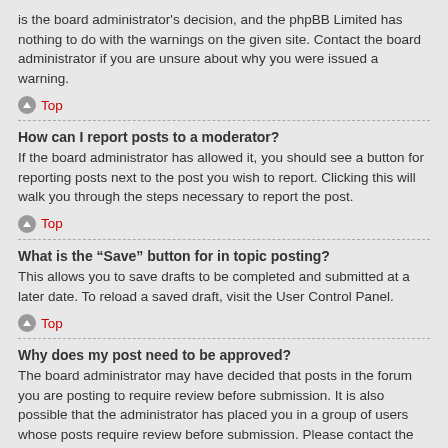is the board administrator's decision, and the phpBB Limited has nothing to do with the warnings on the given site. Contact the board administrator if you are unsure about why you were issued a warning.
Top
How can I report posts to a moderator?
If the board administrator has allowed it, you should see a button for reporting posts next to the post you wish to report. Clicking this will walk you through the steps necessary to report the post.
Top
What is the “Save” button for in topic posting?
This allows you to save drafts to be completed and submitted at a later date. To reload a saved draft, visit the User Control Panel.
Top
Why does my post need to be approved?
The board administrator may have decided that posts in the forum you are posting to require review before submission. It is also possible that the administrator has placed you in a group of users whose posts require review before submission. Please contact the board